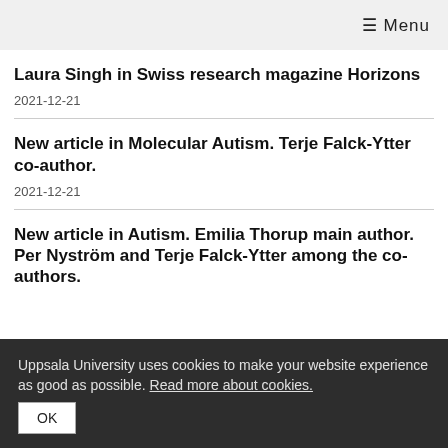≡ Menu
Laura Singh in Swiss research magazine Horizons
2021-12-21
New article in Molecular Autism. Terje Falck-Ytter co-author.
2021-12-21
New article in Autism. Emilia Thorup main author. Per Nyström and Terje Falck-Ytter among the co-authors.
Uppsala University uses cookies to make your website experience as good as possible. Read more about cookies.